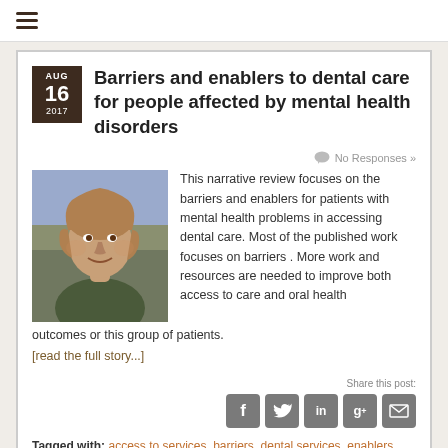☰ (navigation menu)
Barriers and enablers to dental care for people affected by mental health disorders
[Figure (photo): Photo of a middle-aged person with missing teeth, outdoors, suggesting dental health issues related to the article topic]
No Responses »
This narrative review focuses on the barriers and enablers for patients with mental health problems in accessing dental care. Most of the published work focuses on barriers . More work and resources are needed to improve both access to care and oral health outcomes or this group of patients.
[read the full story...]
Share this post:
Tagged with: access to services, barriers, dental services, enablers, health needs, lifestyle factors, mental health, oral health, perceived